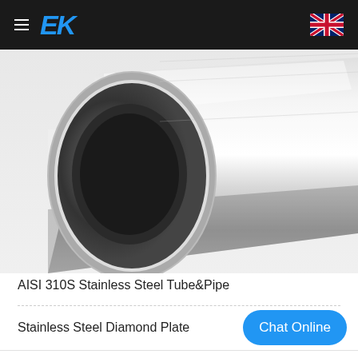EK (logo) with hamburger menu and UK flag
[Figure (photo): Close-up photo of a stainless steel tube/pipe showing the circular end opening and the metallic cylindrical body extending diagonally to the upper right, silver/brushed metal surface]
AISI 310S Stainless Steel Tube&Pipe
Stainless Steel Diamond Plate
Chat Online